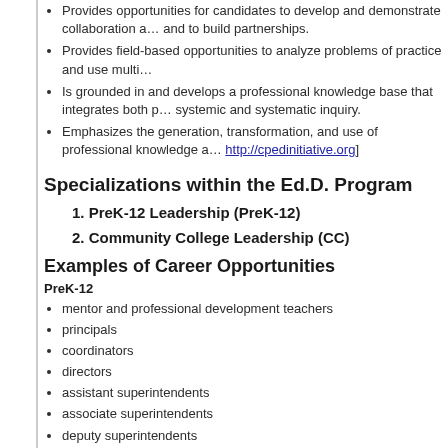Provides opportunities for candidates to develop and demonstrate collaboration and to build partnerships.
Provides field-based opportunities to analyze problems of practice and use multi…
Is grounded in and develops a professional knowledge base that integrates both p… systemic and systematic inquiry.
Emphasizes the generation, transformation, and use of professional knowledge a… http://cpedinitiative.org]
Specializations within the Ed.D. Program
1.  PreK-12 Leadership (PreK-12)
2.  Community College Leadership (CC)
Examples of Career Opportunities
PreK-12
mentor and professional development teachers
principals
coordinators
directors
assistant superintendents
associate superintendents
deputy superintendents